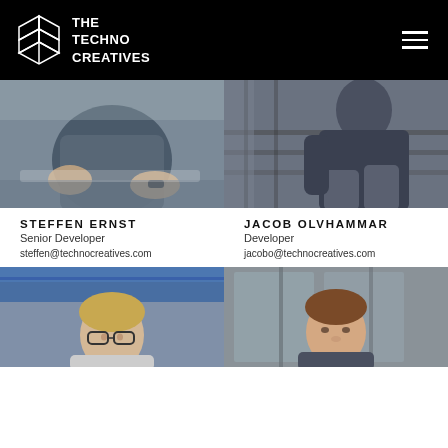THE TECHNO CREATIVES
[Figure (photo): Photo of Steffen Ernst, a man in a dark grey t-shirt working with equipment, wearing a smartwatch]
[Figure (photo): Photo of Jacob Olvhammar, a man in dark clothing sitting on stairs]
STEFFEN ERNST
Senior Developer
steffen@technocreatives.com
JACOB OLVHAMMAR
Developer
jacobo@technocreatives.com
[Figure (photo): Photo of a man with glasses and blonde hair in an office/industrial setting with blue lighting]
[Figure (photo): Photo of a man with brown hair in front of glass windows/doors]